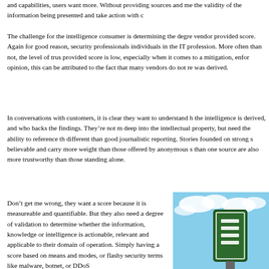and capabilities, users want more. Without providing sources and me the validity of the information being presented and take action with c
The challenge for the intelligence consumer is determining the degre vendor provided score. Again for good reason, security professionals individuals in the IT profession. More often than not, the level of trus provided score is low, especially when it comes to a mitigation, enfor opinion, this can be attributed to the fact that many vendors do not re was derived.
In conversations with customers, it is clear they want to understand h the intelligence is derived, and who backs the findings. They’re not m deep into the intellectual property, but need the ability to reference th different than good journalistic reporting. Stories founded on strong s believable and carry more weight than those offered by anonymous s than one source are also more trustworthy than those standing alone.
Don’t get me wrong, they want a score because it is measureable and quantifiable. But they also need a degree of validation to determine whether the information, knowledge or intelligence is actionable, relevant and applicable to their domain of operation. Simply having a score based on means and modes, or flashy security terms like malware, botnet, or DDoS
[Figure (photo): Photo showing green road signs against a blue sky with clouds]